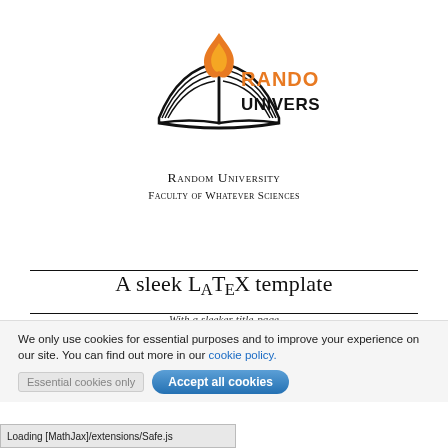[Figure (logo): Random University logo: open book with orange flame, text 'RANDOM UNIVERSITY' in orange and black sans-serif]
Random University
Faculty of Whatever Sciences
A sleek LaTeX template
With a sleeker title-page
We only use cookies for essential purposes and to improve your experience on our site. You can find out more in our cookie policy.
Loading [MathJax]/extensions/Safe.js